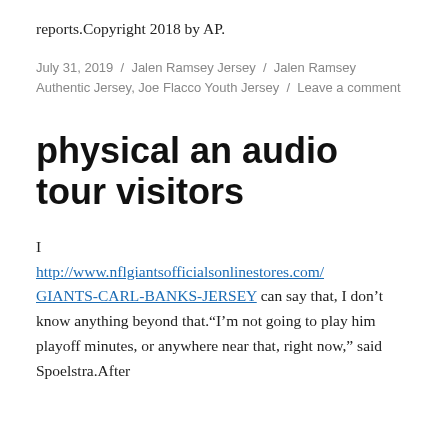reports.Copyright 2018 by AP.
July 31, 2019 / Jalen Ramsey Jersey / Jalen Ramsey Authentic Jersey, Joe Flacco Youth Jersey / Leave a comment
physical an audio tour visitors
I http://www.nflgiantsofficialsonlinestores.com/GIANTS-CARL-BANKS-JERSEY can say that, I don't know anything beyond that."I'm not going to play him playoff minutes, or anywhere near that, right now," said Spoelstra.After